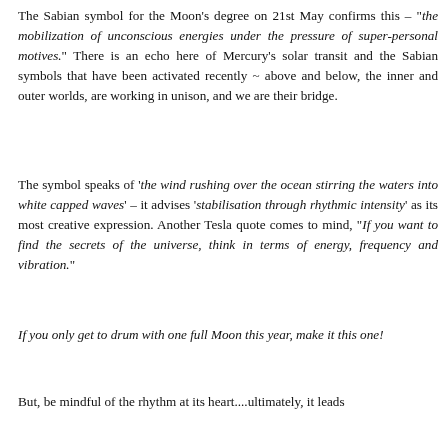The Sabian symbol for the Moon's degree on 21st May confirms this – "the mobilization of unconscious energies under the pressure of super-personal motives." There is an echo here of Mercury's solar transit and the Sabian symbols that have been activated recently ~ above and below, the inner and outer worlds, are working in unison, and we are their bridge.
The symbol speaks of 'the wind rushing over the ocean stirring the waters into white capped waves' – it advises 'stabilisation through rhythmic intensity' as its most creative expression. Another Tesla quote comes to mind, "If you want to find the secrets of the universe, think in terms of energy, frequency and vibration."
If you only get to drum with one full Moon this year, make it this one!
But, be mindful of the rhythm at its heart....ultimately, it leads